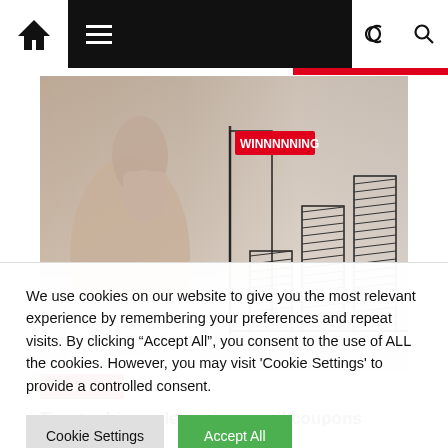Navigation bar with home icon, hamburger menu, dark/light mode icon, search icon
[Figure (photo): Hand pointing at drawn bar chart on glass surface, business growth concept image]
Business
Tips to drive sales using email coupons
We use cookies on our website to give you the most relevant experience by remembering your preferences and repeat visits. By clicking "Accept All", you consent to the use of ALL the cookies. However, you may visit 'Cookie Settings' to provide a controlled consent.
Cookie Settings | Accept All